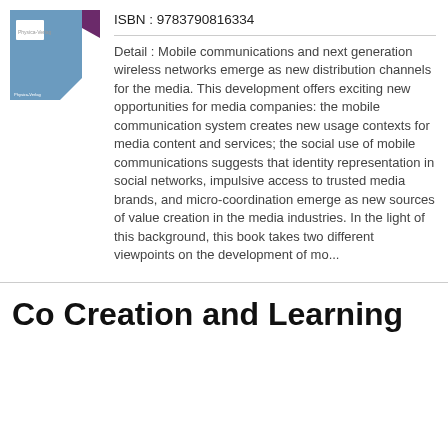[Figure (illustration): Book cover thumbnail with blue/purple design and publisher logo (Physica-Verlag)]
ISBN : 9783790816334
Detail : Mobile communications and next generation wireless networks emerge as new distribution channels for the media. This development offers exciting new opportunities for media companies: the mobile communication system creates new usage contexts for media content and services; the social use of mobile communications suggests that identity representation in social networks, impulsive access to trusted media brands, and micro-coordination emerge as new sources of value creation in the media industries. In the light of this background, this book takes two different viewpoints on the development of mo...
Co Creation and Learning